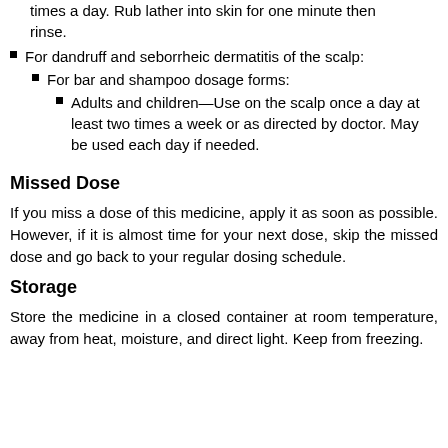times a day. Rub lather into skin for one minute then rinse.
For dandruff and seborrheic dermatitis of the scalp:
For bar and shampoo dosage forms:
Adults and children—Use on the scalp once a day at least two times a week or as directed by doctor. May be used each day if needed.
Missed Dose
If you miss a dose of this medicine, apply it as soon as possible. However, if it is almost time for your next dose, skip the missed dose and go back to your regular dosing schedule.
Storage
Store the medicine in a closed container at room temperature, away from heat, moisture, and direct light. Keep from freezing.